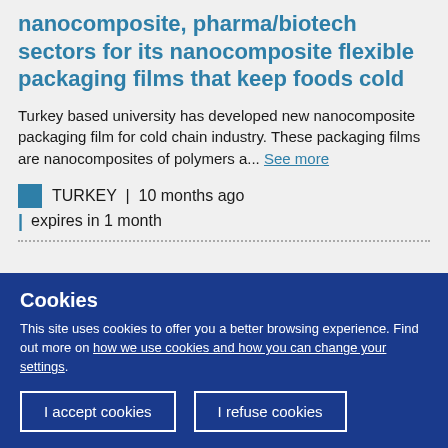nanocomposite, pharma/biotech sectors for its nanocomposite flexible packaging films that keep foods cold
Turkey based university has developed new nanocomposite packaging film for cold chain industry. These packaging films are nanocomposites of polymers a... See more
TURKEY | 10 months ago | expires in 1 month
Cookies
This site uses cookies to offer you a better browsing experience. Find out more on how we use cookies and how you can change your settings.
I accept cookies
I refuse cookies